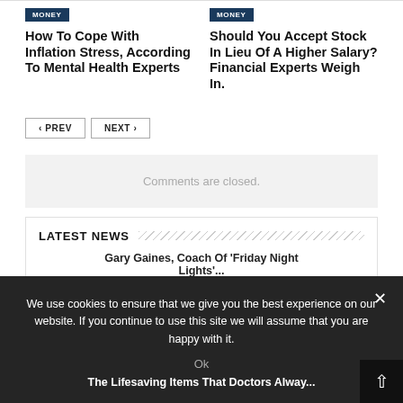MONEY
How To Cope With Inflation Stress, According To Mental Health Experts
MONEY
Should You Accept Stock In Lieu Of A Higher Salary? Financial Experts Weigh In.
< PREV
NEXT >
Comments are closed.
LATEST NEWS
Gary Gaines, Coach Of 'Friday Night Lights'...
We use cookies to ensure that we give you the best experience on our website. If you continue to use this site we will assume that you are happy with it.
Ok
The Lifesaving Items That Doctors Alway...